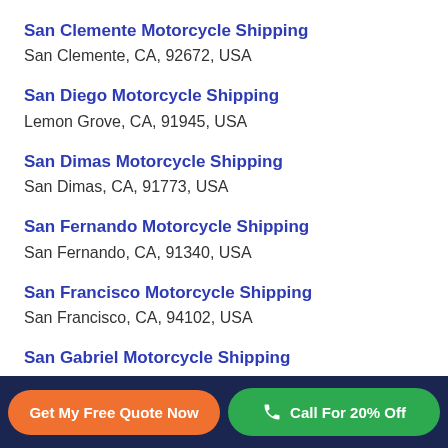San Clemente Motorcycle Shipping
San Clemente, CA, 92672, USA
San Diego Motorcycle Shipping
Lemon Grove, CA, 91945, USA
San Dimas Motorcycle Shipping
San Dimas, CA, 91773, USA
San Fernando Motorcycle Shipping
San Fernando, CA, 91340, USA
San Francisco Motorcycle Shipping
San Francisco, CA, 94102, USA
San Gabriel Motorcycle Shipping
San Gabriel, CA, 91775, USA
San Jacinto Motorcycle Shipping
Get My Free Quote Now
Call For 20% Off